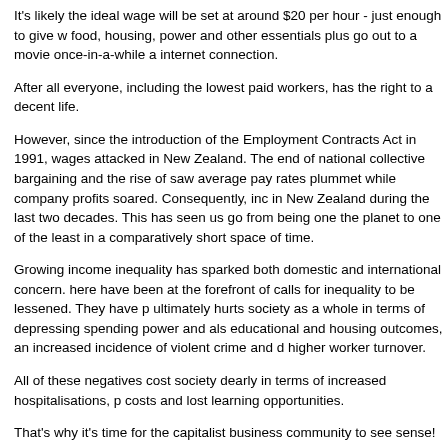It's likely the ideal wage will be set at around $20 per hour - just enough to give w food, housing, power and other essentials plus go out to a movie once-in-a-while a internet connection.
After all everyone, including the lowest paid workers, has the right to a decent life.
However, since the introduction of the Employment Contracts Act in 1991, wages attacked in New Zealand. The end of national collective bargaining and the rise of saw average pay rates plummet while company profits soared. Consequently, inc in New Zealand during the last two decades. This has seen us go from being one the planet to one of the least in a comparatively short space of time.
Growing income inequality has sparked both domestic and international concern. here have been at the forefront of calls for inequality to be lessened. They have p ultimately hurts society as a whole in terms of depressing spending power and als educational and housing outcomes, an increased incidence of violent crime and d higher worker turnover.
All of these negatives cost society dearly in terms of increased hospitalisations, p costs and lost learning opportunities.
That's why it's time for the capitalist business community to see sense!
Yes, low wages have always been the underpinning of huge profits. Karl Marx wa through his surplus value of labour theory.